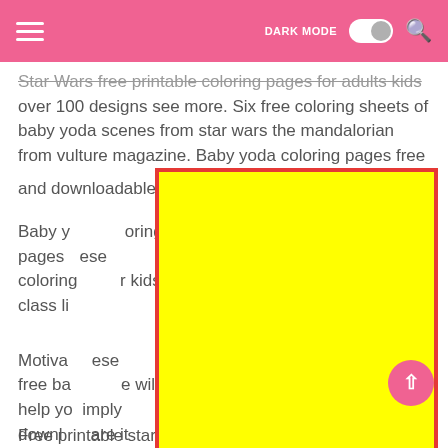DARK MODE [toggle] [search]
Star Wars free printable coloring pages for adults kids over 100 designs see more. Six free coloring sheets of baby yoda scenes from star wars the mandalorian from vulture magazine. Baby yoda coloring pages free and downloadable.
close
Baby yoda coloring pages [partially obscured by ad] oring pages [obscured] ese coloring [obscured] r kids class li[obscured]
[Figure (other): Yellow advertisement overlay with red border covering most of the page content]
Motiva[obscured] ese free ba[obscured] e will help yo[obscured] imply downlo[obscured] are it with a [obscured]
Free printable star wars yoda coloring pages. Free